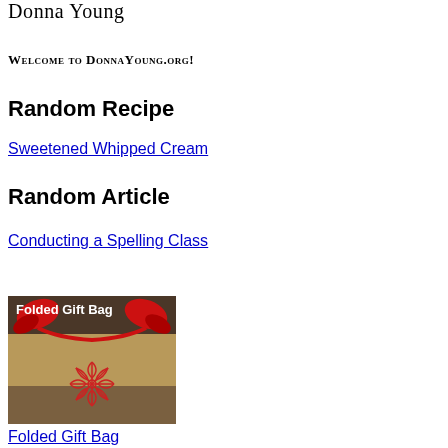Donna Young
Welcome to DonnaYoung.org!
Random Recipe
Sweetened Whipped Cream
Random Article
Conducting a Spelling Class
[Figure (photo): Photo of a folded gift bag made from paper with red ribbon handles and a red poinsettia design, with text overlay 'Folded Gift Bag']
Folded Gift Bag